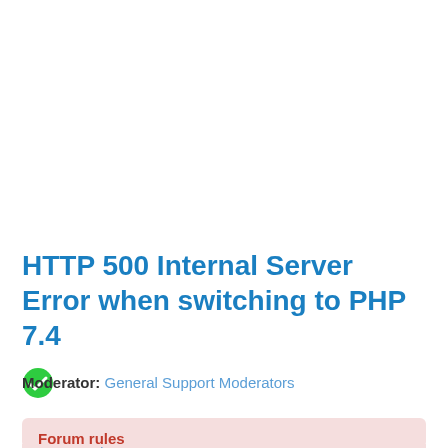HTTP 500 Internal Server Error when switching to PHP 7.4
Moderator: General Support Moderators
Forum rules
Forum Rules